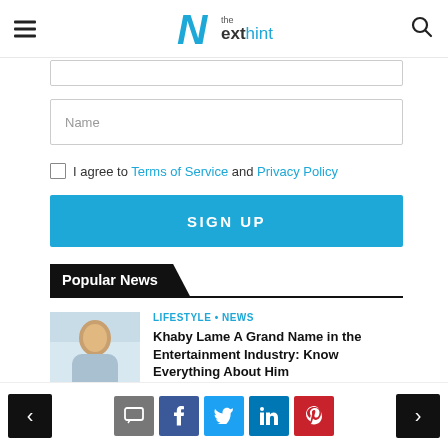The Next Hint — navigation header with hamburger menu and search icon
Name
I agree to Terms of Service and Privacy Policy
SIGN UP
Popular News
LIFESTYLE • NEWS
Khaby Lame A Grand Name in the Entertainment Industry: Know Everything About Him
August 19, 2022
Navigation and social sharing buttons: chat, facebook, twitter, linkedin, pinterest